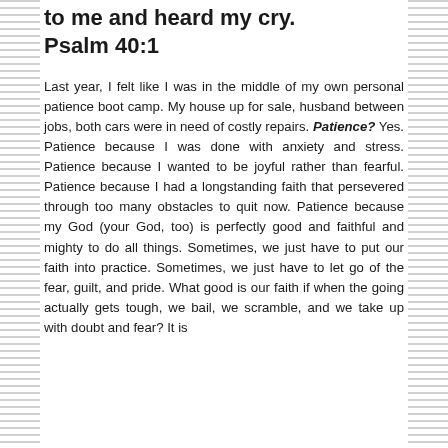to me and heard my cry. Psalm 40:1
Last year, I felt like I was in the middle of my own personal patience boot camp. My house up for sale, husband between jobs, both cars were in need of costly repairs. Patience? Yes. Patience because I was done with anxiety and stress. Patience because I wanted to be joyful rather than fearful. Patience because I had a longstanding faith that persevered through too many obstacles to quit now. Patience because my God (your God, too) is perfectly good and faithful and mighty to do all things. Sometimes, we just have to put our faith into practice. Sometimes, we just have to let go of the fear, guilt, and pride. What good is our faith if when the going actually gets tough, we bail, we scramble, and we take up with doubt and fear? It is